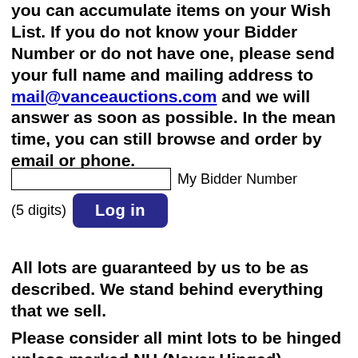you can accumulate items on your Wish List. If you do not know your Bidder Number or do not have one, please send your full name and mailing address to mail@vanceauctions.com and we will answer as soon as possible. In the mean time, you can still browse and order by email or phone.
[Figure (other): A form with a text input labeled 'My Bidder Number (5 digits)' and a blue 'Log in' button]
All lots are guaranteed by us to be as described. We stand behind everything that we sell.
Please consider all mint lots to be hinged unless marked NH (Never Hinged).